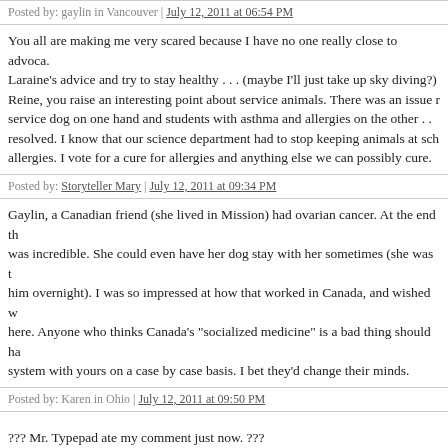Posted by: gaylin in Vancouver | July 12, 2011 at 06:54 PM
You all are making me very scared because I have no one really close to advoca. Laraine's advice and try to stay healthy . . . (maybe I'll just take up sky diving?) Reine, you raise an interesting point about service animals. There was an issue r service dog on one hand and students with asthma and allergies on the other . . . resolved. I know that our science department had to stop keeping animals at sch allergies. I vote for a cure for allergies and anything else we can possibly cure.
Posted by: Storyteller Mary | July 12, 2011 at 09:34 PM
Gaylin, a Canadian friend (she lived in Mission) had ovarian cancer. At the end th was incredible. She could even have her dog stay with her sometimes (she was t him overnight). I was so impressed at how that worked in Canada, and wished w here. Anyone who thinks Canada's "socialized medicine" is a bad thing should ha system with yours on a case by case basis. I bet they'd change their minds.
Posted by: Karen in Ohio | July 12, 2011 at 09:50 PM
??? Mr. Typepad ate my comment just now. ???
Posted by: Laraine | July 12, 2011 at 10:15 PM